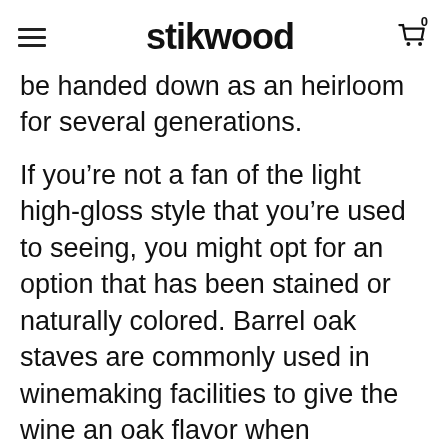stikwood
be handed down as an heirloom for several generations.
If you’re not a fan of the light high-gloss style that you’re used to seeing, you might opt for an option that has been stained or naturally colored. Barrel oak staves are commonly used in winemaking facilities to give the wine an oak flavor when foregoing fermentation in smaller oak barrels. The result is